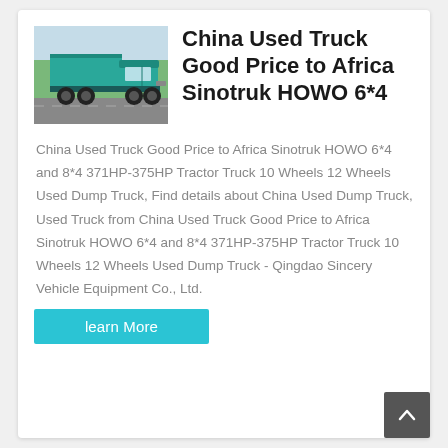[Figure (photo): Photo of a teal/green Sinotruk HOWO dump truck parked on a road with trees in the background.]
China Used Truck Good Price to Africa Sinotruk HOWO 6*4
China Used Truck Good Price to Africa Sinotruk HOWO 6*4 and 8*4 371HP-375HP Tractor Truck 10 Wheels 12 Wheels Used Dump Truck, Find details about China Used Dump Truck, Used Truck from China Used Truck Good Price to Africa Sinotruk HOWO 6*4 and 8*4 371HP-375HP Tractor Truck 10 Wheels 12 Wheels Used Dump Truck - Qingdao Sincery Vehicle Equipment Co., Ltd.
learn More